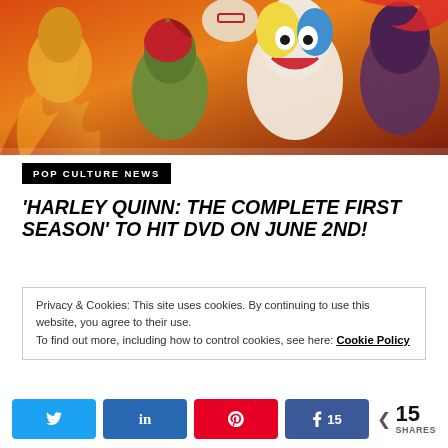[Figure (illustration): Animated illustration of Harley Quinn characters including Harley Quinn, Poison Ivy, and other DC villains in a colorful animated style against an orange/fire background.]
POP CULTURE NEWS
'HARLEY QUINN: THE COMPLETE FIRST SEASON' TO HIT DVD ON JUNE 2ND!
Privacy & Cookies: This site uses cookies. By continuing to use this website, you agree to their use.
To find out more, including how to control cookies, see here: Cookie Policy